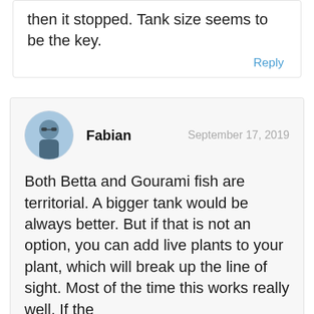then it stopped. Tank size seems to be the key.
Reply
Fabian   September 17, 2019
Both Betta and Gourami fish are territorial. A bigger tank would be always better. But if that is not an option, you can add live plants to your plant, which will break up the line of sight. Most of the time this works really well. If the